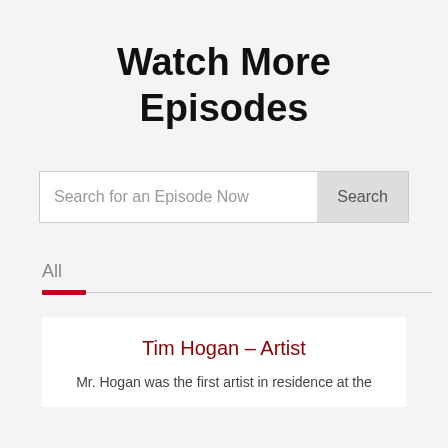Watch More Episodes
Search for an Episode Now
All
Tim Hogan – Artist
Mr. Hogan was the first artist in residence at the